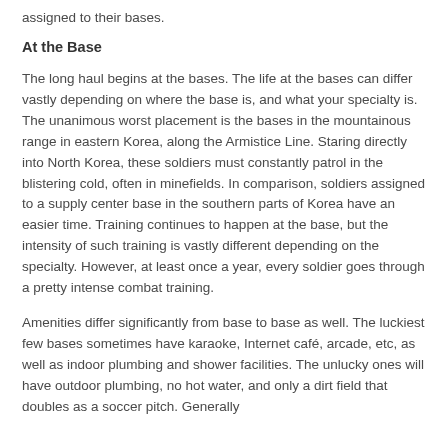assigned to their bases.
At the Base
The long haul begins at the bases. The life at the bases can differ vastly depending on where the base is, and what your specialty is. The unanimous worst placement is the bases in the mountainous range in eastern Korea, along the Armistice Line. Staring directly into North Korea, these soldiers must constantly patrol in the blistering cold, often in minefields. In comparison, soldiers assigned to a supply center base in the southern parts of Korea have an easier time. Training continues to happen at the base, but the intensity of such training is vastly different depending on the specialty. However, at least once a year, every soldier goes through a pretty intense combat training.
Amenities differ significantly from base to base as well. The luckiest few bases sometimes have karaoke, Internet café, arcade, etc, as well as indoor plumbing and shower facilities. The unlucky ones will have outdoor plumbing, no hot water, and only a dirt field that doubles as a soccer pitch. Generally